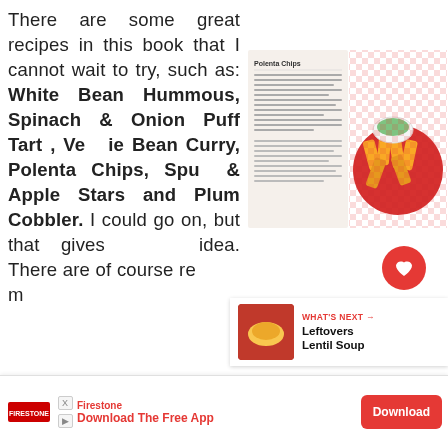There are some great recipes in this book that I cannot wait to try, such as: White Bean Hummous, Spinach & Onion Puff Tart , Veggie Bean Curry, Polenta Chips, Spud & Apple Stars and Plum Cobbler. I could go on, but that gives you an idea. There are of course re...
[Figure (photo): A cookbook page spread showing a recipe for Polenta Chips alongside a photo of golden polenta chips in a red bowl with a dipping sauce.]
[Figure (infographic): WHAT'S NEXT arrow label with thumbnail of lentil soup and text: Leftovers Lentil Soup]
[Figure (infographic): Advertisement bar: Firestone logo, text 'Download The Free App', red Download button, close/skip icons]